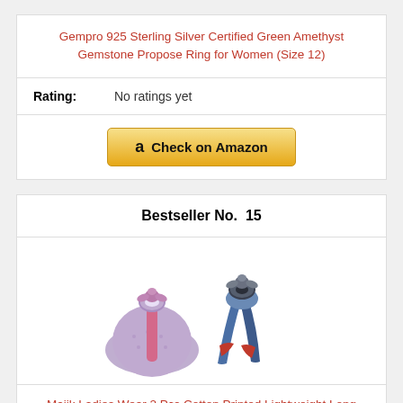Gempro 925 Sterling Silver Certified Green Amethyst Gemstone Propose Ring for Women (Size 12)
Rating: No ratings yet
[Figure (other): Check on Amazon button with Amazon logo]
Bestseller No. 15
[Figure (photo): Two scarves/wraps: a purple/pink textured wrap on the left and a blue/red/grey printed scarf on the right]
Majik Ladies Wear 2 Pcs Cotton Printed Lightweight Long Scarf Stole For Daily Use Best Gift Item...